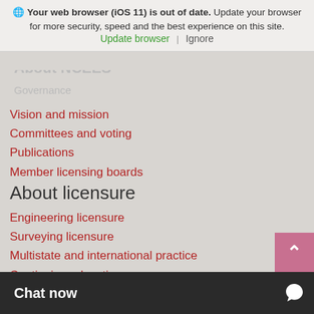Your web browser (iOS 11) is out of date. Update your browser for more security, speed and the best experience on this site. Update browser | Ignore
About NCEES
Governance
Vision and mission
Committees and voting
Publications
Member licensing boards
About licensure
Engineering licensure
Surveying licensure
Multistate and international practice
Continuing education
Licensure Exchange
NCEES exams
Fundamentals of Engineering
Principles and Practice of Engineering
Fundamentals of Surveying
Principles and Practice of S...